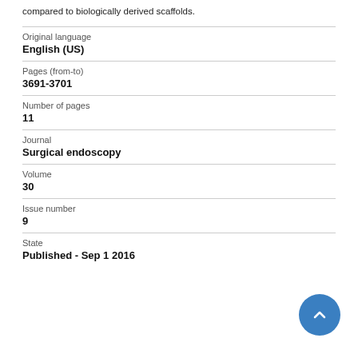compared to biologically derived scaffolds.
| Original language | English (US) |
| Pages (from-to) | 3691-3701 |
| Number of pages | 11 |
| Journal | Surgical endoscopy |
| Volume | 30 |
| Issue number | 9 |
| State | Published - Sep 1 2016 |